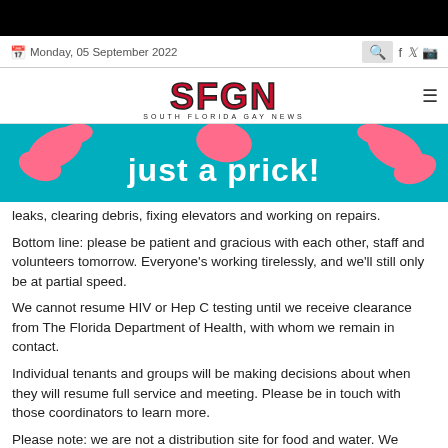Monday, 05 September 2022
[Figure (logo): SFGN South Florida Gay News logo]
[Figure (photo): Advertisement banner with pink hands and text 'just a prick!' on teal background]
leaks, clearing debris, fixing elevators and working on repairs.
Bottom line: please be patient and gracious with each other, staff and volunteers tomorrow. Everyone's working tirelessly, and we'll still only be at partial speed.
We cannot resume HIV or Hep C testing until we receive clearance from The Florida Department of Health, with whom we remain in contact.
Individual tenants and groups will be making decisions about when they will resume full service and meeting. Please be in touch with those coordinators to learn more.
Please note: we are not a distribution site for food and water. We